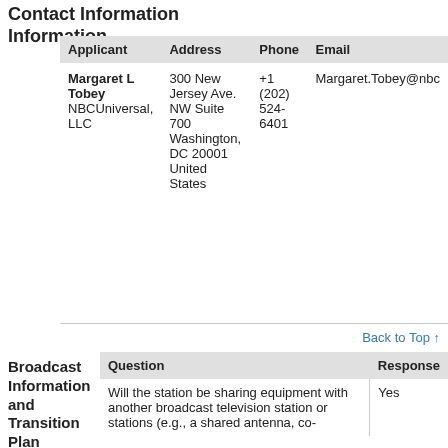Contact Information
| Applicant | Address | Phone | Email |
| --- | --- | --- | --- |
| Margaret L Tobey
NBCUniversal, LLC | 300 New Jersey Ave. NW
Suite 700
Washington, DC 20001
United States | +1 (202) 524-6401 | Margaret.Tobey@nbc |
Back to Top ↑
Broadcast Information and Transition Plan
| Question | Response |
| --- | --- |
| Will the station be sharing equipment with another broadcast television station or stations (e.g., a shared antenna, co-located… | Yes |